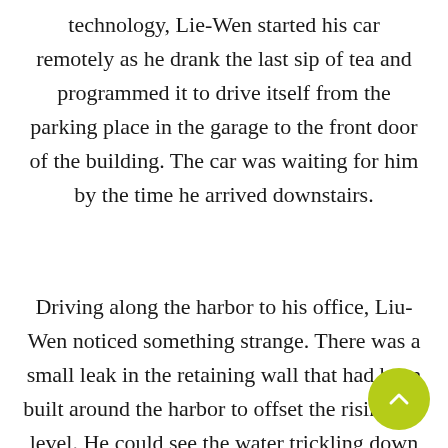technology, Lie-Wen started his car remotely as he drank the last sip of tea and programmed it to drive itself from the parking place in the garage to the front door of the building. The car was waiting for him by the time he arrived downstairs.
Driving along the harbor to his office, Liu-Wen noticed something strange. There was a small leak in the retaining wall that had been built around the harbor to offset the rising sea level. He could see the water trickling down from one spot in the middle of the wall. Many